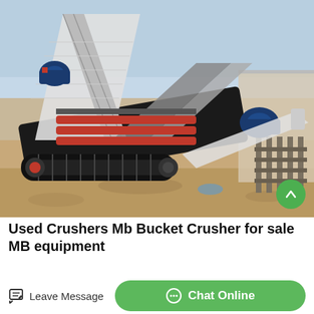[Figure (photo): Outdoor industrial scene showing a large mobile crusher / screener machine with crawler tracks, multiple conveyor belts, blue electric motors, and steel frame structure. The machine sits on a dirt/gravel construction site. Steel scaffolding or panels are visible to the right. Light blue sky in the background.]
Used Crushers Mb Bucket Crusher for sale MB equipment
Leave Message
Chat Online